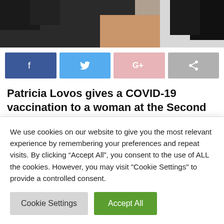[Figure (photo): Partial photo of a person receiving a vaccination, showing gloved hands and arm]
[Figure (infographic): Social media share buttons: Facebook, Twitter, Google+, Share]
Patricia Lovos gives a COVID-19 vaccination to a woman at the Second Baptist Church in Ogden on May 8, 2021. For the first time (text cut off)
We use cookies on our website to give you the most relevant experience by remembering your preferences and repeat visits. By clicking “Accept All”, you consent to the use of ALL the cookies. However, you may visit "Cookie Settings" to provide a controlled consent.